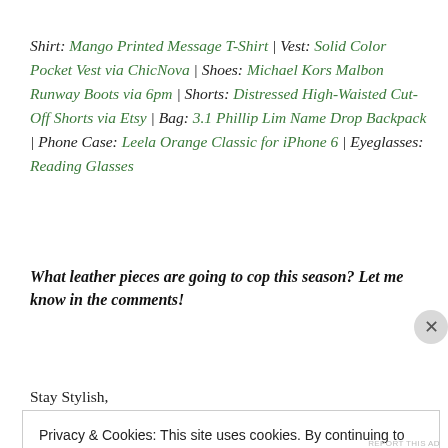Shirt: Mango Printed Message T-Shirt | Vest: Solid Color Pocket Vest via ChicNova | Shoes: Michael Kors Malbon Runway Boots via 6pm | Shorts: Distressed High-Waisted Cut-Off Shorts via Etsy | Bag: 3.1 Phillip Lim Name Drop Backpack | Phone Case: Leela Orange Classic for iPhone 6 | Eyeglasses: Reading Glasses
What leather pieces are going to cop this season? Let me know in the comments!
Stay Stylish,
Privacy & Cookies: This site uses cookies. By continuing to use this website, you agree to their use. To find out more, including how to control cookies, see here: Cookie Policy
CLOSE AND ACCEPT